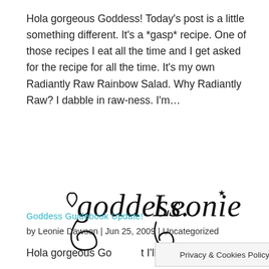Hola gorgeous Goddess! Today's post is a little something different. It's a *gasp* recipe. One of those recipes I eat all the time and I get asked for the recipe for all the time. It's my own Radiantly Raw Rainbow Salad. Why Radiantly Raw? I dabble in raw-ness. I'm…
[Figure (illustration): Handwritten cursive signature reading 'goddess. Leonie' with a small heart and decorative swirls]
Goddess Guidebook Update!
by Leonie Dawson | Jun 25, 2009 | Uncategorized
Hola gorgeous Goo... t I'll let
Privacy & Cookies Policy